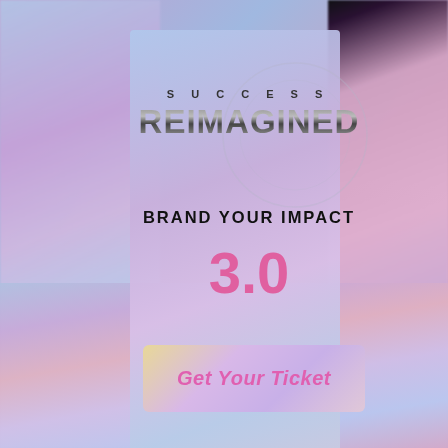[Figure (photo): Promotional event banner for 'Success Reimagined: Brand Your Impact 3.0' showing a central gradient card with event title and ticket button, surrounded by blurred collage of video conference participants on left and right sides, with large bottom strip also showing participants.]
SUCCESS REIMAGINED
BRAND YOUR IMPACT
3.0
Get Your Ticket